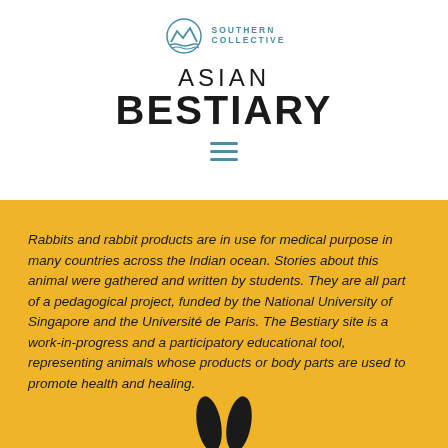[Figure (logo): Southern Collective logo with mountain/wave icon and teal text reading SOUTHERN COLLECTIVE]
ASIAN BESTIARY
[Figure (other): Hamburger menu icon with three teal horizontal lines]
Rabbits and rabbit products are in use for medical purpose in many countries across the Indian ocean. Stories about this animal were gathered and written by students. They are all part of a pedagogical project, funded by the National University of Singapore and the Université de Paris. The Bestiary site is a work-in-progress and a participatory educational tool, representing animals whose products or body parts are used to promote health and healing.
[Figure (illustration): Black rabbit ears silhouette at the bottom of the page on yellow background]